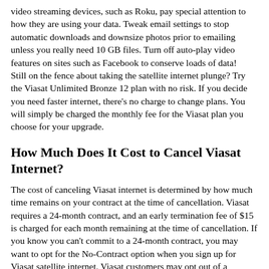video streaming devices, such as Roku, pay special attention to how they are using your data. Tweak email settings to stop automatic downloads and downsize photos prior to emailing unless you really need 10 GB files. Turn off auto-play video features on sites such as Facebook to conserve loads of data! Still on the fence about taking the satellite internet plunge? Try the Viasat Unlimited Bronze 12 plan with no risk. If you decide you need faster internet, there's no charge to change plans. You will simply be charged the monthly fee for the Viasat plan you choose for your upgrade.
How Much Does It Cost to Cancel Viasat Internet?
The cost of canceling Viasat internet is determined by how much time remains on your contract at the time of cancellation. Viasat requires a 24-month contract, and an early termination fee of $15 is charged for each month remaining at the time of cancellation. If you know you can't commit to a 24-month contract, you may want to opt for the No-Contract option when you sign up for Viasat satellite internet. Viasat customers may opt out of a contract with the payment of a $300 No-Contract fee. In addition to cutting the commitment period to get Viasat internet, the $300 No-Contract option provides a way for people who have poor credit or don't